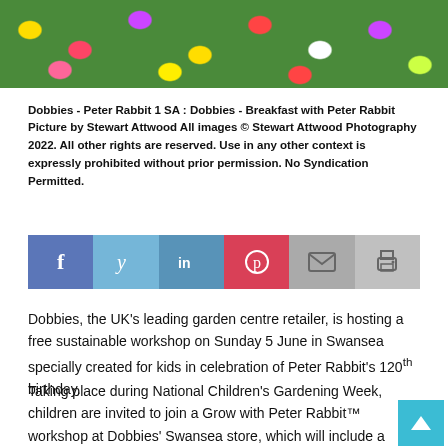[Figure (photo): Colorful flower garden with yellow, red, purple, and white flowers]
Dobbies - Peter Rabbit 1 SA : Dobbies - Breakfast with Peter Rabbit Picture by Stewart Attwood All images © Stewart Attwood Photography 2022. All other rights are reserved. Use in any other context is expressly prohibited without prior permission. No Syndication Permitted.
[Figure (other): Social sharing bar with Facebook, Twitter, LinkedIn, Pinterest, Email, and Print buttons]
Dobbies, the UK's leading garden centre retailer, is hosting a free sustainable workshop on Sunday 5 June in Swansea specially created for kids in celebration of Peter Rabbit's 120th birthday.
Taking place during National Children's Gardening Week, children are invited to join a Grow with Peter Rabbit™ workshop at Dobbies' Swansea store, which will include a range of exciting gardening-themed activities for children aged 4-10.